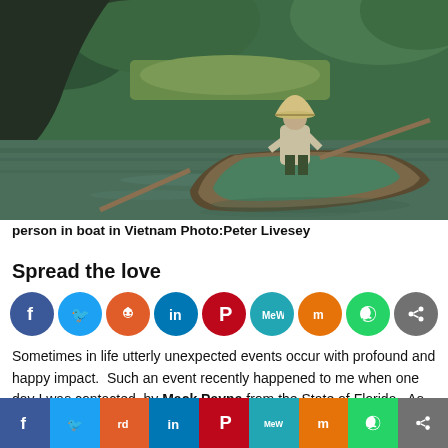[Figure (photo): Person wearing a conical hat rowing a wooden boat on a river in Vietnam, with lush green hills and vegetation in the background.]
person in boat in Vietnam Photo:Peter Livesey
Spread the love
[Figure (infographic): Row of social media sharing icons: Facebook (blue), Twitter (cyan), Reddit (red/orange), LinkedIn (dark blue), Pinterest (red), MeWe (teal), Mix (orange), WhatsApp (green), Share (gray)]
Sometimes in life utterly unexpected events occur with profound and happy impact.  Such an event recently happened to me when one day I was contacted  by Mack Payne from the State of Florida.  As we talked I discovered the Mack Payne had recently read something I had written and was published in
[Figure (infographic): Footer social sharing bar with icons: Facebook, Twitter, Reddit, LinkedIn, Pinterest, MeWe, Mix, WhatsApp, Share]